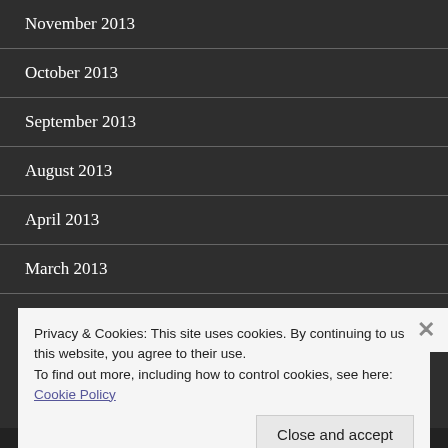November 2013
October 2013
September 2013
August 2013
April 2013
March 2013
Privacy & Cookies: This site uses cookies. By continuing to use this website, you agree to their use.
To find out more, including how to control cookies, see here: Cookie Policy
Close and accept